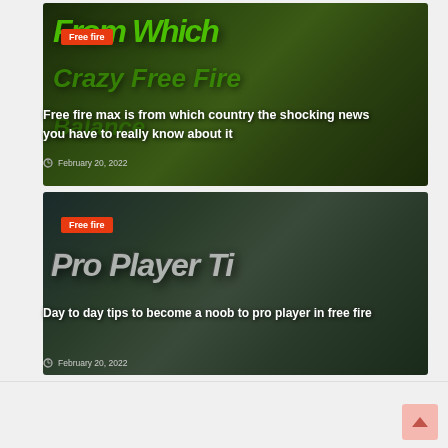[Figure (photo): Gaming thumbnail with large green text 'from which' over dark green background for Free Fire game article]
Free fire max is from which country the shocking news you have to really know about it
February 20, 2022
[Figure (photo): Gaming thumbnail with large grey 3D text 'Pro Player Ti' over dark green background for Free Fire game article]
Day to day tips to become a noob to pro player in free fire
February 20, 2022